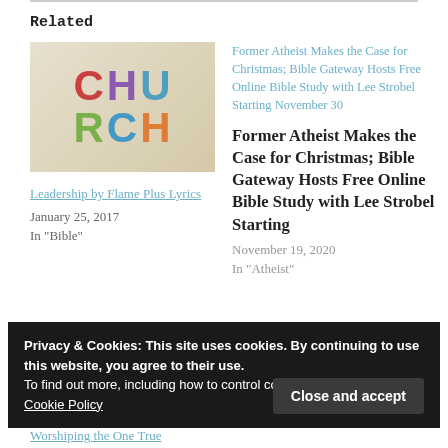Related
[Figure (illustration): CHURCH logo image with colorful block letters on a textured background]
Leadership by Flame Plus Lyrics
January 25, 2017
In "Bible"
Former Atheist Makes the Case for Christmas; Bible Gateway Hosts Free Online Bible Study with Lee Strobel Starting November 30
Former Atheist Makes the Case for Christmas; Bible Gateway Hosts Free Online Bible Study with Lee Strobel Starting
November 19, 2020
In "Atheist"
Privacy & Cookies: This site uses cookies. By continuing to use this website, you agree to their use.
To find out more, including how to control cookies, see here:
Cookie Policy
Close and accept
Worshiping the One True